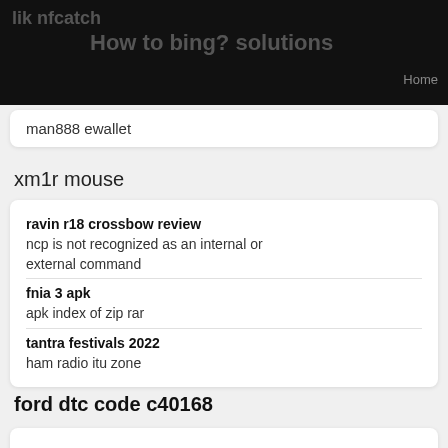lik nfcatch
How to bing? solutions
Home
man888 ewallet
xm1r mouse
ravin r18 crossbow review
ncp is not recognized as an internal or external command
fnia 3 apk
apk index of zip rar
tantra festivals 2022
ham radio itu zone
ford dtc code c40168